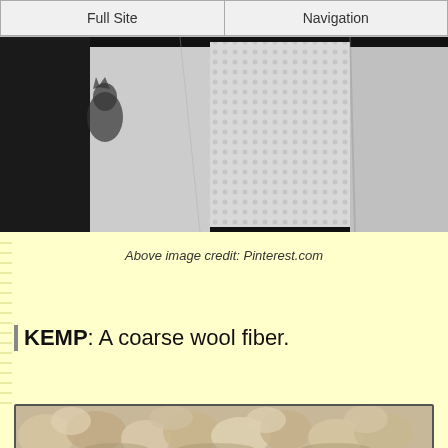Full Site | Navigation
[Figure (photo): Black and white photo of draped fabric or textile, shown against a dark background]
Above image credit: Pinterest.com
KEMP: A coarse wool fiber.
[Figure (photo): Sepia-toned photo of raw wool fleece]